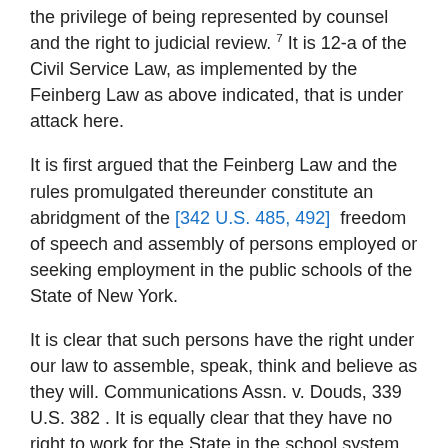the privilege of being represented by counsel and the right to judicial review. 7 It is 12-a of the Civil Service Law, as implemented by the Feinberg Law as above indicated, that is under attack here.
It is first argued that the Feinberg Law and the rules promulgated thereunder constitute an abridgment of the [342 U.S. 485, 492] freedom of speech and assembly of persons employed or seeking employment in the public schools of the State of New York.
It is clear that such persons have the right under our law to assemble, speak, think and believe as they will. Communications Assn. v. Douds, 339 U.S. 382 . It is equally clear that they have no right to work for the State in the school system on their own terms. United Public Workers v. Mitchell, 330 U.S. 75 . They may work for the school system upon the reasonable terms laid down by the proper authorities of New York. If they do not choose to work on